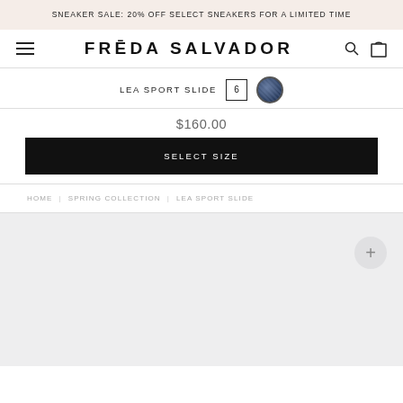SNEAKER SALE: 20% OFF SELECT SNEAKERS FOR A LIMITED TIME
FRĒDA SALVADOR
LEA SPORT SLIDE  6  [color swatch]
$160.00
SELECT SIZE
HOME | SPRING COLLECTION | LEA SPORT SLIDE
[Figure (other): Light gray content area with a circular plus (+) button in the upper right corner]